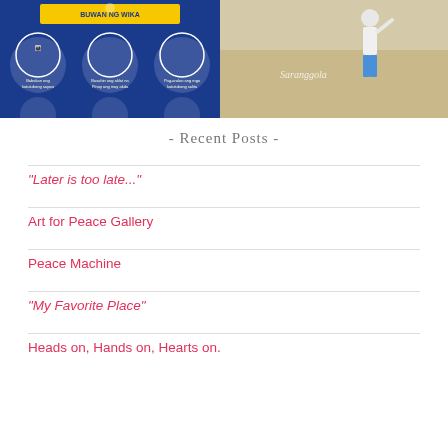[Figure (photo): Left image: blue background infographic for 'Buwan ng Wika' with illustrated circles showing cultural activities and Filipino text. Right image: A person in white shirt and blue shorts on a sandy beach, with 'Saranggola' watermark.]
- Recent Posts -
“Later is too late...”
Art for Peace Gallery
Peace Machine
“My Favorite Place”
Heads on, Hands on, Hearts on.